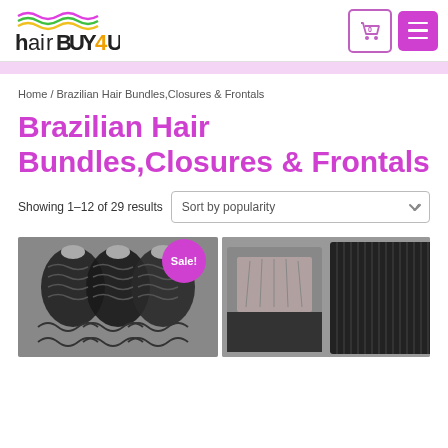[Figure (logo): hairbuy4u logo with wavy colored lines above text]
[Figure (illustration): Shopping cart icon with 0 badge and purple hamburger menu button]
Home / Brazilian Hair Bundles,Closures & Frontals
Brazilian Hair Bundles,Closures & Frontals
Showing 1–12 of 29 results
Sort by popularity
[Figure (photo): Three wavy/deep wave hair bundles with Sale! badge]
[Figure (photo): Hair closure product and straight hair bundle]